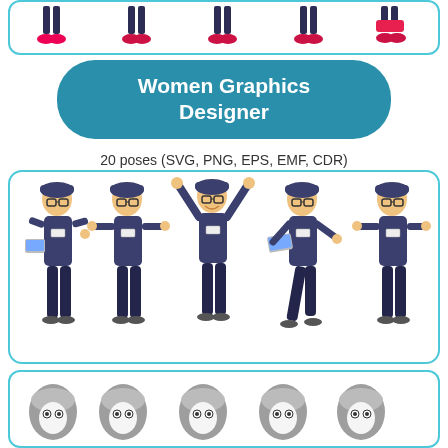[Figure (illustration): Top strip showing lower halves/feet of cartoon characters in various poses, with colored shoes, inside a rounded rectangle border]
Women Graphics Designer
20 poses (SVG, PNG, EPS, EMF, CDR)
[Figure (illustration): Five cartoon male graphics designer characters in dark navy blue outfits and caps with glasses, shown in various poses including holding laptops and raising hands, inside a rounded rectangle border]
Women Doctor
20 poses (SVG, PNG, EPS, EMF, CDR)
[Figure (illustration): Bottom strip showing tops/heads of cartoon doctor characters in grey/white outfits, partially visible inside a rounded rectangle border]